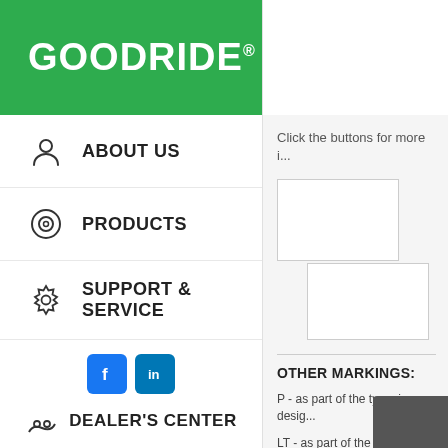[Figure (logo): Goodride brand logo in white text on green background]
ABOUT US
PRODUCTS
SUPPORT & SERVICE
[Figure (illustration): Facebook and LinkedIn social media icons]
DEALER'S CENTER
Click the buttons for more i...
[Figure (other): Two white placeholder button boxes]
OTHER MARKINGS:
P - as part of the tyre size desig...
LT - as part of the size designat...
MS - letters used to indicate a t...